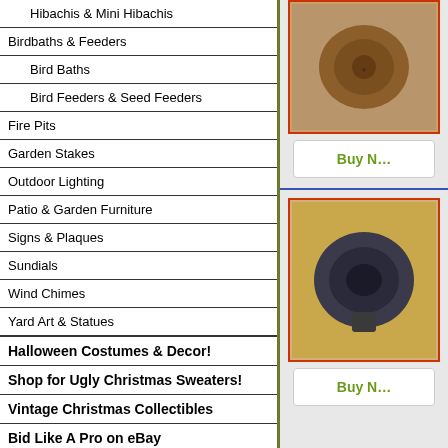Hibachis & Mini Hibachis
Birdbaths & Feeders
Bird Baths
Bird Feeders & Seed Feeders
Fire Pits
Garden Stakes
Outdoor Lighting
Patio & Garden Furniture
Signs & Plaques
Sundials
Wind Chimes
Yard Art & Statues
Halloween Costumes & Decor!
Shop for Ugly Christmas Sweaters!
Vintage Christmas Collectibles
Bid Like A Pro on eBay
Easy eBay Advanced Search
[Figure (other): Advertisement box placeholder]
[Figure (photo): Brown round product photo (top), partially visible]
Buy N...
[Figure (photo): Dark round product photo (bottom), partially visible]
Buy N...